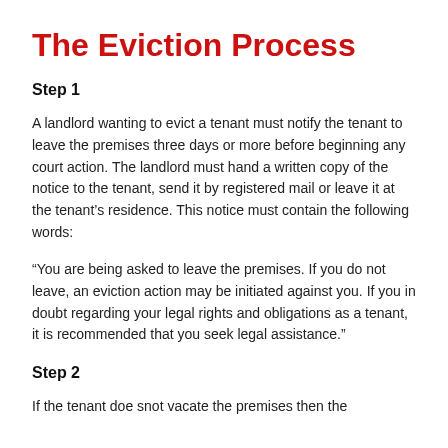The Eviction Process
Step 1
A landlord wanting to evict a tenant must notify the tenant to leave the premises three days or more before beginning any court action. The landlord must hand a written copy of the notice to the tenant, send it by registered mail or leave it at the tenant's residence. This notice must contain the following words:
“You are being asked to leave the premises. If you do not leave, an eviction action may be initiated against you. If you in doubt regarding your legal rights and obligations as a tenant, it is recommended that you seek legal assistance.”
Step 2
If the tenant doe snot vacate the premises then the